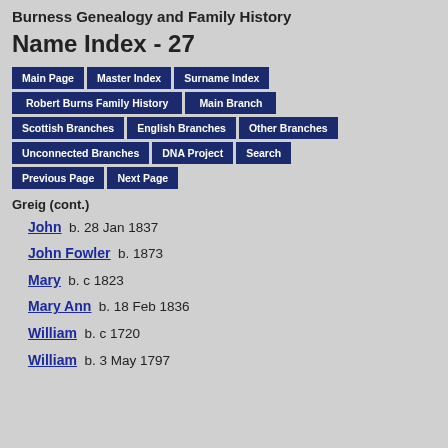Burness Genealogy and Family History
Name Index - 27
Navigation buttons: Main Page, Master Index, Surname Index, Robert Burns Family History, Main Branch, Scottish Branches, English Branches, Other Branches, Unconnected Branches, DNA Project, Search, Previous Page, Next Page
Greig (cont.)
John  b. 28 Jan 1837
John Fowler  b. 1873
Mary  b. c 1823
Mary Ann  b. 18 Feb 1836
William  b. c 1720
William  b. 3 May 1797